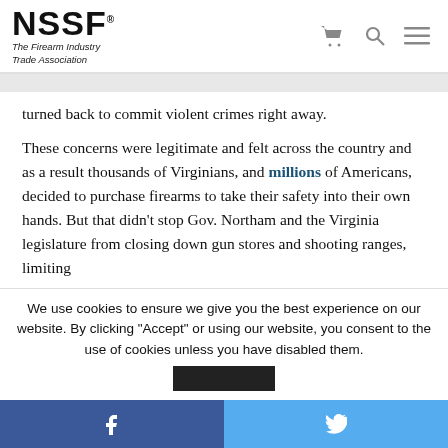NSSF® The Firearm Industry Trade Association
turned back to commit violent crimes right away.
These concerns were legitimate and felt across the country and as a result thousands of Virginians, and millions of Americans, decided to purchase firearms to take their safety into their own hands. But that didn't stop Gov. Northam and the Virginia legislature from closing down gun stores and shooting ranges, limiting
We use cookies to ensure we give you the best experience on our website. By clicking "Accept" or using our website, you consent to the use of cookies unless you have disabled them.
Facebook | Twitter